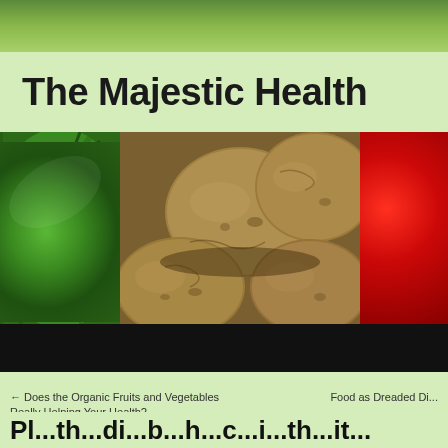The Majestic Health
[Figure (photo): Header banner with three panels: kale leaves on the left, potatoes in the center, and raspberries on the right. Below the banner is a black navigation bar with links: Home, About Me, Contact Me.]
← Does the Organic Fruits and Vegetables Really Helping Your Health?
Food as Dreaded Di...
Pl...th...di...b...h...c...i...th...it...